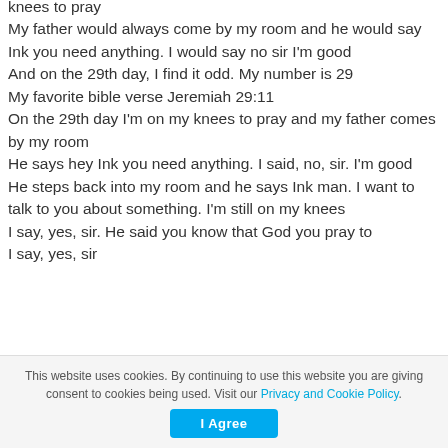knees to pray
My father would always come by my room and he would say Ink you need anything. I would say no sir I'm good
And on the 29th day, I find it odd. My number is 29
My favorite bible verse Jeremiah 29:11
On the 29th day I'm on my knees to pray and my father comes by my room
He says hey Ink you need anything. I said, no, sir. I'm good
He steps back into my room and he says Ink man. I want to talk to you about something. I'm still on my knees
I say, yes, sir. He said you know that God you pray to
I say, yes, sir
This website uses cookies. By continuing to use this website you are giving consent to cookies being used. Visit our Privacy and Cookie Policy.